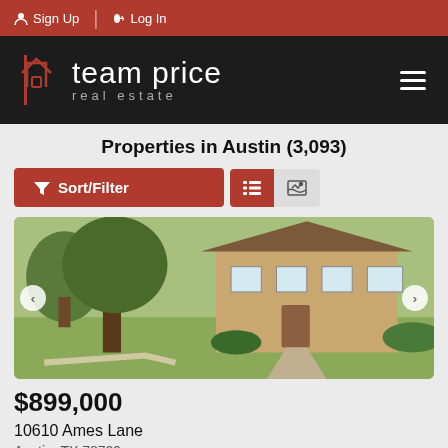Sign Up | Log In
[Figure (logo): Team Price Real Estate logo with house icon on black background]
Properties in Austin (3,093)
Sort/Filter [list view] [map view]
[Figure (photo): Exterior photo of a brick house with large trees and landscaped front yard]
$899,000
10610 Ames Lane
Austin, TX 78729